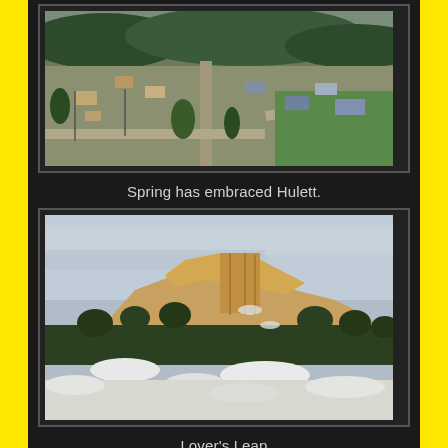[Figure (photo): Aerial view of Hulett town in spring, showing streets, buildings, trees with spring foliage, and green grass areas against a backdrop of forested hills.]
Spring has embraced Hulett.
[Figure (photo): Landscape photograph of Lover's Leap, a rocky butte with exposed sandstone cliffs and evergreen trees, with snow visible in the foreground and overcast sky.]
Lover's Leap